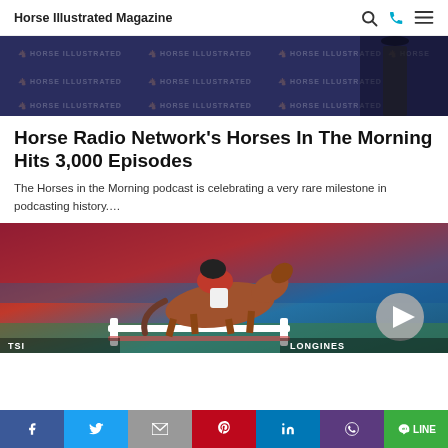Horse Illustrated Magazine
[Figure (photo): Dark background banner with repeating Horse Illustrated Magazine logos and running horse icons in a grid pattern, showing lower half of a person standing]
Horse Radio Network's Horses In The Morning Hits 3,000 Episodes
The Horses in the Morning podcast is celebrating a very rare milestone in podcasting history....
[Figure (photo): Equestrian show jumping photo: rider in red jacket on chestnut horse jumping over white fence poles, colorful stadium seating in background, with a triangular play button overlay]
Social share bar: Facebook, Twitter, Email, Pinterest, LinkedIn, WhatsApp, LINE